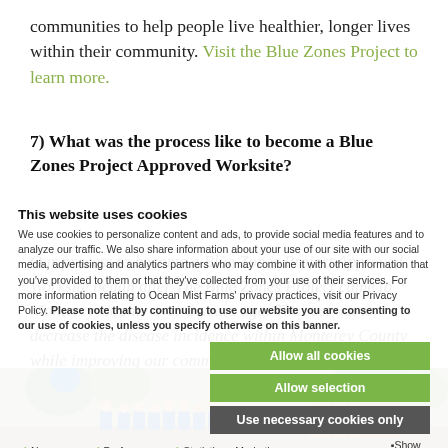communities to help people live healthier, longer lives within their community. Visit the Blue Zones Project to learn more.
7) What was the process like to become a Blue Zones Project Approved Worksite?
Our process to become a Blue Zones Project Approved Worksite began after The Blue Zones Project came to Monterey County over 2 years ago. They set out to decrease the disease incidence within Monterey County while improving our community's overall health and longevity.
This website uses cookies
We use cookies to personalize content and ads, to provide social media features and to analyze our traffic. We also share information about your use of our site with our social media, advertising and analytics partners who may combine it with other information that you've provided to them or that they've collected from your use of their services. For more information relating to Ocean Mist Farms' privacy practices, visit our Privacy Policy. Please note that by continuing to use our website you are consenting to our use of cookies, unless you specify otherwise on this banner.
Allow all cookies
Allow selection
Use necessary cookies only
Necessary  Preferences  Statistics  Marketing  Show details
[Figure (photo): Group photo of people in blue t-shirts wearing masks outdoors near trees and wooden crates]